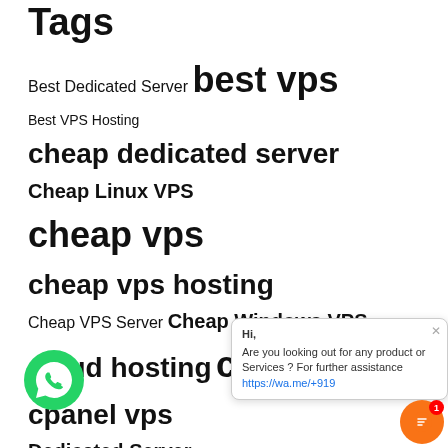Tags
Best Dedicated Server  best vps  Best VPS Hosting  cheap dedicated server  Cheap Linux VPS  cheap vps  cheap vps hosting  Cheap VPS Server  Cheap Windows VPS  cloud hosting  cloud vps  cpanel vps  Dedicated Server  Dedicated Server Hosting  Europe dedicated server  forex vps  france vps  France vps server  Gaming Dedicated Server  Italy VPS  Italy VPS Hosting  KVM VPS  Linux Dedicated  ux VPS  Linux VPS Server  Proxy Dedicated Server  ssd vps